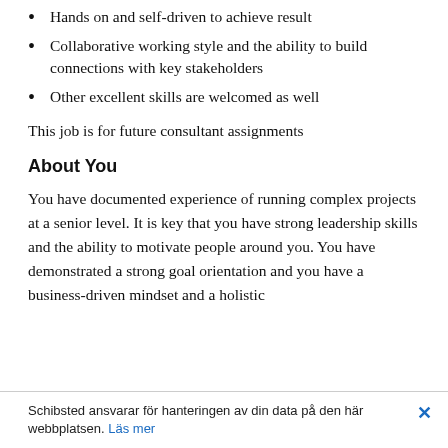Hands on and self-driven to achieve result
Collaborative working style and the ability to build connections with key stakeholders
Other excellent skills are welcomed as well
This job is for future consultant assignments
About You
You have documented experience of running complex projects at a senior level. It is key that you have strong leadership skills and the ability to motivate people around you. You have demonstrated a strong goal orientation and you have a business-driven mindset and a holistic
Schibsted ansvarar för hanteringen av din data på den här webbplatsen. Läs mer